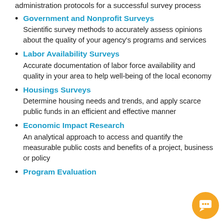administration protocols for a successful survey process
Government and Nonprofit Surveys — Scientific survey methods to accurately assess opinions about the quality of your agency's programs and services
Labor Availability Surveys — Accurate documentation of labor force availability and quality in your area to help well-being of the local economy
Housings Surveys — Determine housing needs and trends, and apply scarce public funds in an efficient and effective manner
Economic Impact Research — An analytical approach to access and quantify the measurable public costs and benefits of a project, business or policy
Program Evaluation